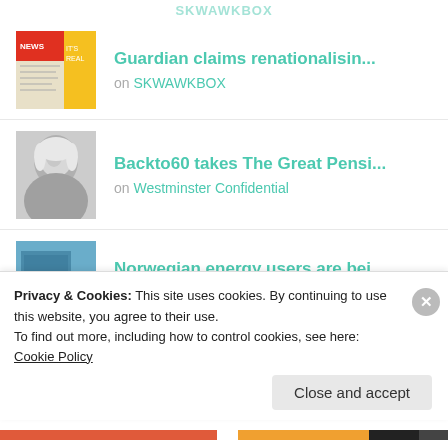SKWAWKBOX
[Figure (photo): Thumbnail image of a newspaper or magazine cover with red, yellow and white design]
Guardian claims renationalisin...
on SKWAWKBOX
[Figure (photo): Black and white portrait photo of a woman with light hair]
Backto60 takes The Great Pensi...
on Westminster Confidential
[Figure (photo): Thumbnail image of a building exterior, possibly Norwegian energy company]
Norwegian energy users are bei...
on SKWAWKBOX
[Figure (photo): Thumbnail photo of two people, possibly for Greens crowdfunding article]
Greens crowdfunding legal acti...
Privacy & Cookies: This site uses cookies. By continuing to use this website, you agree to their use.
To find out more, including how to control cookies, see here: Cookie Policy
Close and accept